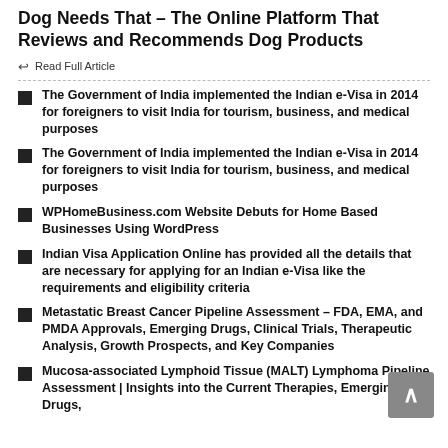Dog Needs That – The Online Platform That Reviews and Recommends Dog Products
← Read Full Article
The Government of India implemented the Indian e-Visa in 2014 for foreigners to visit India for tourism, business, and medical purposes
The Government of India implemented the Indian e-Visa in 2014 for foreigners to visit India for tourism, business, and medical purposes
WPHomeBusiness.com Website Debuts for Home Based Businesses Using WordPress
Indian Visa Application Online has provided all the details that are necessary for applying for an Indian e-Visa like the requirements and eligibility criteria
Metastatic Breast Cancer Pipeline Assessment – FDA, EMA, and PMDA Approvals, Emerging Drugs, Clinical Trials, Therapeutic Analysis, Growth Prospects, and Key Companies
Mucosa-associated Lymphoid Tissue (MALT) Lymphoma Pipeline Assessment | Insights into the Current Therapies, Emerging Drugs,